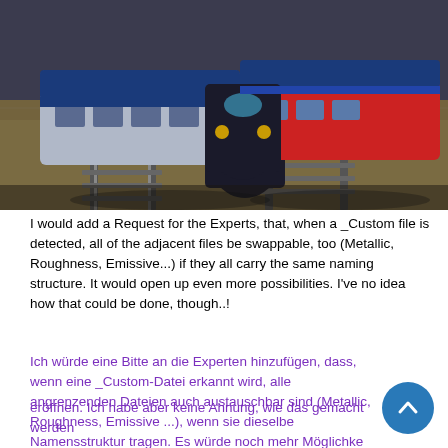[Figure (photo): 3D rendered scene showing two modern trains side by side on railway tracks. One train is silver/blue and the other is red/blue, both with SNCF styling. The background shows a brown/sandy landscape with a dark grey sky.]
I would add a Request for the Experts, that, when a _Custom file is detected, all of the adjacent files be swappable, too (Metallic, Roughness, Emissive...) if they all carry the same naming structure. It would open up even more possibilities. I've no idea how that could be done, though..!
Ich würde eine Bitte an die Experten hinzufügen, dass, wenn eine _Custom-Datei erkannt wird, alle angrenzenden Dateien auch austauschbar sind (Metallic, Roughness, Emissive ...), wenn sie dieselbe Namensstruktur tragen. Es würde noch mehr Möglichkeiten eröffnen. Ich habe aber keine Ahnung, wie das gemacht werden